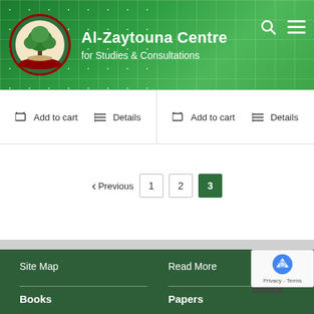[Figure (logo): Al-Zaytouna Centre for Studies & Consultations website header with green background, logo with tree image, site name, search and menu icons]
Al-Zaytouna Centre
for Studies & Consultations
Add to cart   Details   Add to cart   Details
‹ Previous   1   2   3
Site Map
Read More
Books
Papers